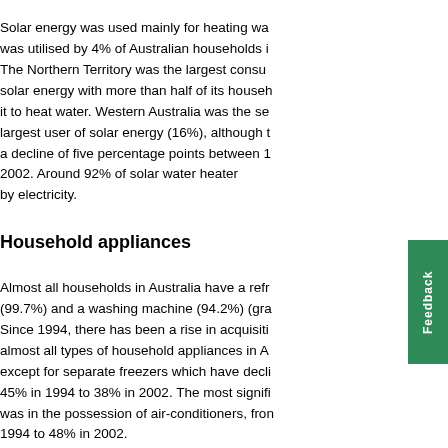Solar energy was used mainly for heating water and was utilised by 4% of Australian households in 2002. The Northern Territory was the largest consumer of solar energy with more than half of its households using it to heat water. Western Australia was the second largest user of solar energy (16%), although there was a decline of five percentage points between 1994 and 2002. Around 92% of solar water heaters were boosted by electricity.
Household appliances
Almost all households in Australia have a refrigerator (99.7%) and a washing machine (94.2%) (graph 7). Since 1994, there has been a rise in acquisition of almost all types of household appliances in Australia, except for separate freezers which have declined from 45% in 1994 to 38% in 2002. The most significant rise was in the possession of air-conditioners, from 1994 to 48% in 2002.